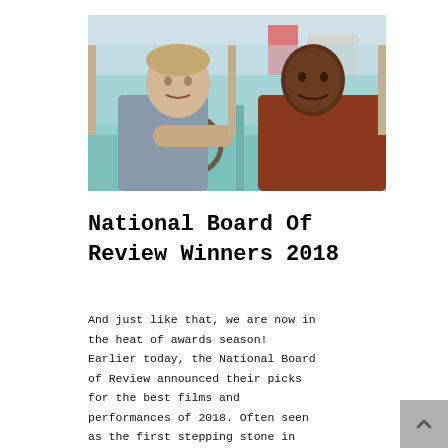[Figure (photo): Two men sitting in the front seat of a car. The man on the left is white, wearing a short-sleeve blue shirt, with his arm on the steering wheel. The man on the right is Black, wearing a rust/brown sweater, seated in the passenger seat. The car interior is light teal/green.]
National Board Of Review Winners 2018
And just like that, we are now in the heat of awards season! Earlier today, the National Board of Review announced their picks for the best films and performances of 2018. Often seen as the first stepping stone in